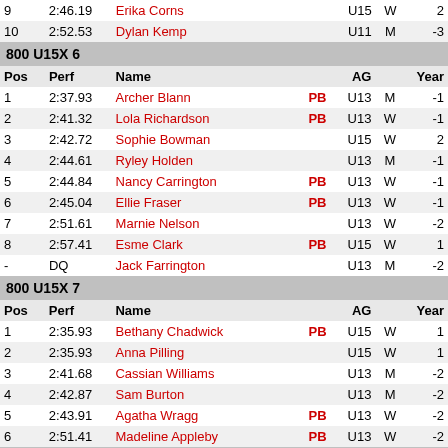| Pos | Perf | Name |  | AG |  | Year |
| --- | --- | --- | --- | --- | --- | --- |
| 9 | 2:46.19 | Erika Corns |  | U15 | W | 2 |
| 10 | 2:52.53 | Dylan Kemp |  | U11 | M | -3 |
800 U15X 6
| Pos | Perf | Name |  | AG |  | Year |
| --- | --- | --- | --- | --- | --- | --- |
| 1 | 2:37.93 | Archer Blann | PB | U13 | M | -1 |
| 2 | 2:41.32 | Lola Richardson | PB | U13 | W | -1 |
| 3 | 2:42.72 | Sophie Bowman |  | U15 | W | 2 |
| 4 | 2:44.61 | Ryley Holden |  | U13 | M | -1 |
| 5 | 2:44.84 | Nancy Carrington | PB | U13 | W | -1 |
| 6 | 2:45.04 | Ellie Fraser | PB | U13 | W | -1 |
| 7 | 2:51.61 | Marnie Nelson |  | U13 | W | -2 |
| 8 | 2:57.41 | Esme Clark | PB | U15 | W | 1 |
| - | DQ | Jack Farrington |  | U13 | M | -2 |
800 U15X 7
| Pos | Perf | Name |  | AG |  | Year |
| --- | --- | --- | --- | --- | --- | --- |
| 1 | 2:35.93 | Bethany Chadwick | PB | U15 | W | 1 |
| 2 | 2:35.93 | Anna Pilling |  | U15 | W | 1 |
| 3 | 2:41.68 | Cassian Williams |  | U13 | M | -2 |
| 4 | 2:42.87 | Sam Burton |  | U13 | M | -2 |
| 5 | 2:43.91 | Agatha Wragg | PB | U13 | W | -2 |
| 6 | 2:51.41 | Madeline Appleby | PB | U13 | W | -2 |
800 U15X 8
| Pos | Perf | Name |  | AG |  | Year |
| --- | --- | --- | --- | --- | --- | --- |